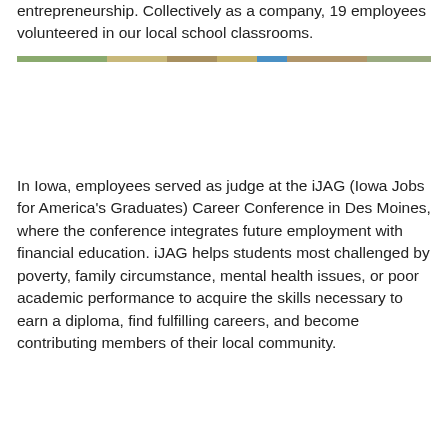entrepreneurship. Collectively as a company, 19 employees volunteered in our local school classrooms.
[Figure (photo): A horizontal strip showing a classroom or group photo scene with multiple people, colorful and partially visible at the top of the image area.]
In Iowa, employees served as judge at the iJAG (Iowa Jobs for America's Graduates) Career Conference in Des Moines, where the conference integrates future employment with financial education. iJAG helps students most challenged by poverty, family circumstance, mental health issues, or poor academic performance to acquire the skills necessary to earn a diploma, find fulfilling careers, and become contributing members of their local community.